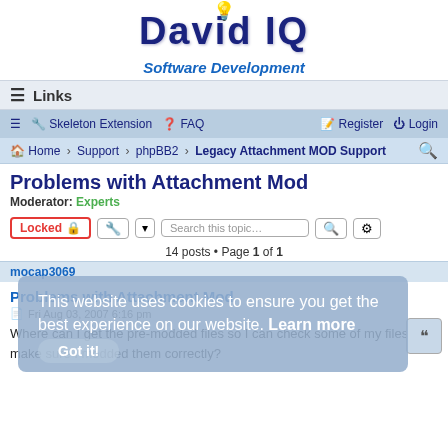[Figure (logo): David IQ Software Development logo with lightbulb icon]
≡ Links
≡ 🔧 Skeleton Extension ❓ FAQ   Register Login
Home › Support › phpBB2 › Legacy Attachment MOD Support
Problems with Attachment Mod
Moderator: Experts
Locked 🔒  🔧 ▾  Search this topic…
14 posts • Page 1 of 1
mocap3069
This website uses cookies to ensure you get the best experience on our website. Learn more
Got it!
Problems with Attachment Mod
Fri Aug 03, 2007 6:16 pm
Where can I get the pre-modded files so I can check some of my files to make sure I modded them correctly?